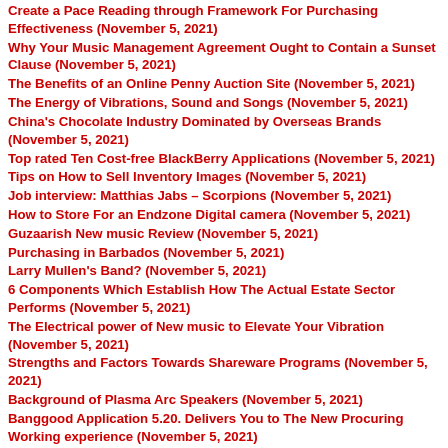Create a Pace Reading through Framework For Purchasing Effectiveness (November 5, 2021)
Why Your Music Management Agreement Ought to Contain a Sunset Clause (November 5, 2021)
The Benefits of an Online Penny Auction Site (November 5, 2021)
The Energy of Vibrations, Sound and Songs (November 5, 2021)
China's Chocolate Industry Dominated by Overseas Brands (November 5, 2021)
Top rated Ten Cost-free BlackBerry Applications (November 5, 2021)
Tips on How to Sell Inventory Images (November 5, 2021)
Job interview: Matthias Jabs – Scorpions (November 5, 2021)
How to Store For an Endzone Digital camera (November 5, 2021)
Guzaarish New music Review (November 5, 2021)
Purchasing in Barbados (November 5, 2021)
Larry Mullen's Band? (November 5, 2021)
6 Components Which Establish How The Actual Estate Sector Performs (November 5, 2021)
The Electrical power of New music to Elevate Your Vibration (November 5, 2021)
Strengths and Factors Towards Shareware Programs (November 5, 2021)
Background of Plasma Arc Speakers (November 5, 2021)
Banggood Application 5.20. Delivers You to The New Procuring Working experience (November 5, 2021)